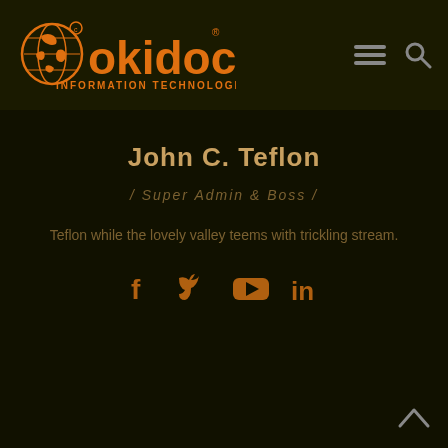Okidoc Information Technologies — navigation header with logo, hamburger menu, and search icon
John C. Teflon
/ Super Admin & Boss /
Teflon while the lovely valley teems with trickling stream.
[Figure (infographic): Social media icons: Facebook, Twitter, YouTube, LinkedIn]